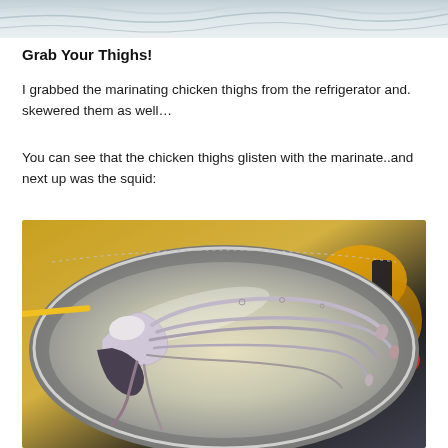[Figure (photo): Top portion of a photo showing a metallic/silver surface with wavy reflections, cropped at top of page]
Grab Your Thighs!
I grabbed the marinating chicken thighs from the refrigerator and. skewered them as well…
You can see that the chicken thighs glisten with the marinate..and next up was the squid:
[Figure (photo): Raw squid tentacles arranged on a silver/metallic serving tray with a yellow skewer, background shows colorful items out of focus]